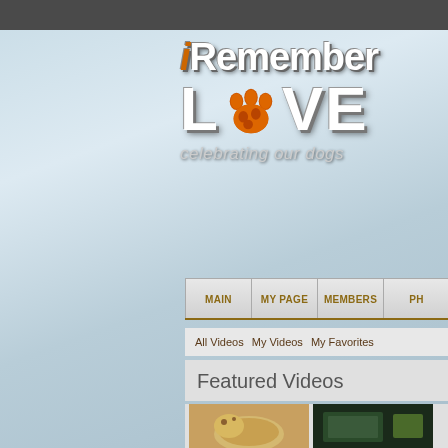[Figure (screenshot): iRememberLove website screenshot showing logo with paw print, navigation bar with MAIN, MY PAGE, MEMBERS, PH... tabs, video navigation links (All Videos, My Videos, My Favorites), Featured Videos section heading, and two video thumbnails]
iRemember LOVE - celebrating our dogs
Featured Videos